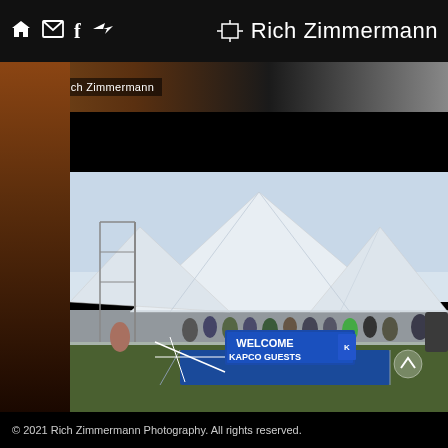Rich Zimmermann
© Rich Zimmermann
[Figure (photo): Outdoor event photo showing a large white tent with WELCOME KAPCO GUESTS banner, groups of people gathered underneath and around the tent on a sunny day.]
© 2021 Rich Zimmermann Photography. All rights reserved.